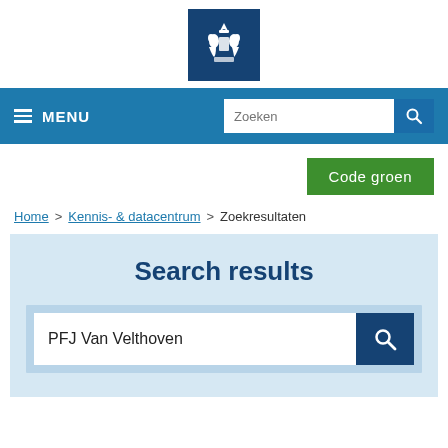[Figure (logo): Dutch government coat of arms logo — white emblem on dark blue square background]
≡ MENU   Zoeken [search icon]
Code groen
Home > Kennis- & datacentrum > Zoekresultaten
Search results
PFJ Van Velthoven